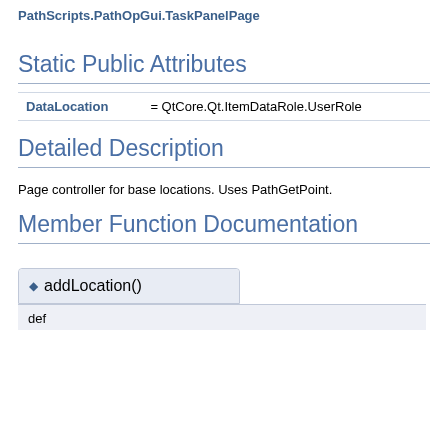PathScripts.PathOpGui.TaskPanelPage
Static Public Attributes
| Name | Value |
| --- | --- |
| DataLocation | = QtCore.Qt.ItemDataRole.UserRole |
Detailed Description
Page controller for base locations. Uses PathGetPoint.
Member Function Documentation
addLocation()
def